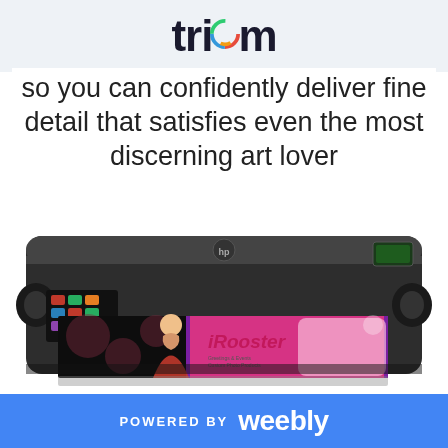tricom
so you can confidently deliver fine detail that satisfies even the most discerning art lover
[Figure (photo): HP large-format printer printing a colorful banner featuring a young girl and 'Rooster' branding on pink and black polka-dot media]
POWERED BY weebly